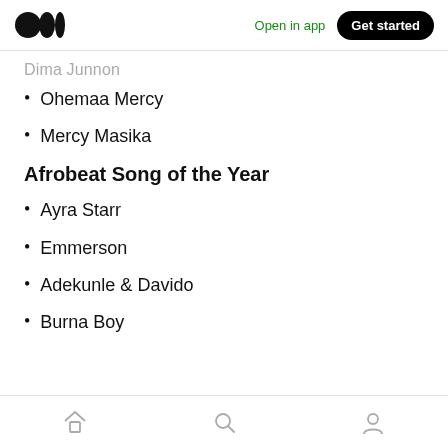Medium logo | Open in app | Get started
Dima Junnon
Ohemaa Mercy
Mercy Masika
Afrobeat Song of the Year
Ayra Starr
Emmerson
Adekunle & Davido
Burna Boy
Home | Search | Profile